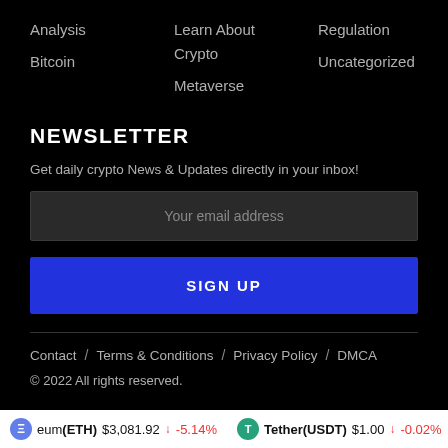Analysis
Bitcoin
Learn About Crypto
Metaverse
Regulation
Uncategorized
NEWSLETTER
Get daily crypto News & Updates directly in your inbox!
Your email address
SIGN UP
Contact / Terms & Conditions / Privacy Policy / DMCA
© 2022 All rights reserved.
eum(ETH) $3,081.92 ↓ -5.14%   Tether(USDT) $1.00 ↓ -0.02%